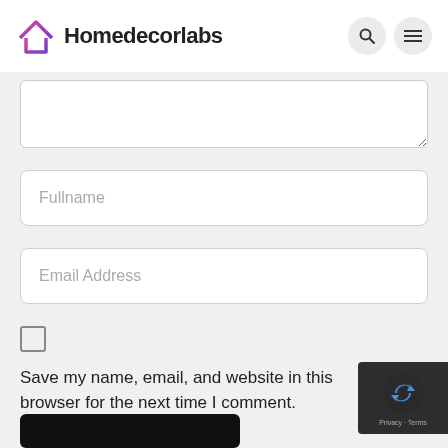Homedecorlabs
[Figure (screenshot): Partial comment form textarea (cropped at top)]
Fullname
Email Address
Save my name, email, and website in this browser for the next time I comment.